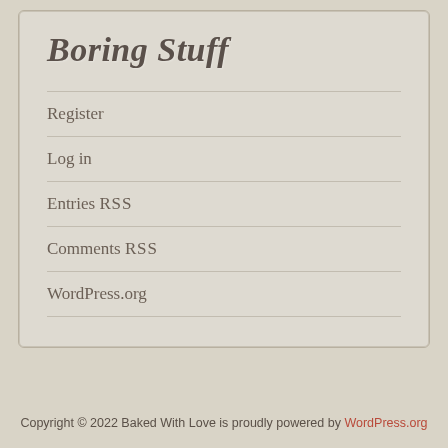Boring Stuff
Register
Log in
Entries RSS
Comments RSS
WordPress.org
Copyright © 2022 Baked With Love is proudly powered by WordPress.org